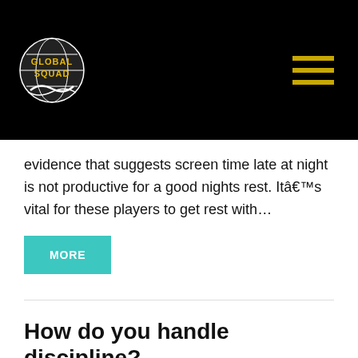Global Squad
evidence that suggests screen time late at night is not productive for a good nights rest. Itâs vital for these players to get rest with…
MORE
How do you handle discipline?
Fortunately we have not experienced many behaviorally issues. The main reason is these players and their families are making a huge sacrifice to be at camp. They also are usually very